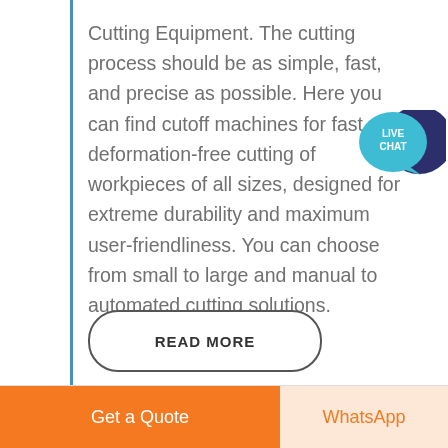Cutting Equipment. The cutting process should be as simple, fast, and precise as possible. Here you can find cutoff machines for fast deformation-free cutting of workpieces of all sizes, designed for extreme durability and maximum user-friendliness. You can choose from small to large and manual to automated cutting solutions.
[Figure (other): Live chat speech bubble icon with teal foreground bubble labeled LIVE CHAT and dark navy background bubble]
READ MORE
Get a Quote
WhatsApp